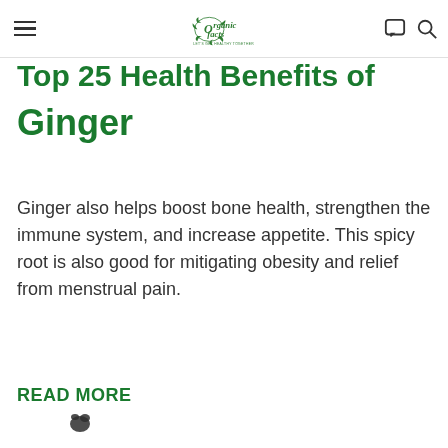Organic Facts — LET'S GET HEALTHY TOGETHER
…Top … Health Benefits of Ginger
Ginger also helps boost bone health, strengthen the immune system, and increase appetite. This spicy root is also good for mitigating obesity and relief from menstrual pain.
READ MORE
[Figure (illustration): Small ginger root icon]